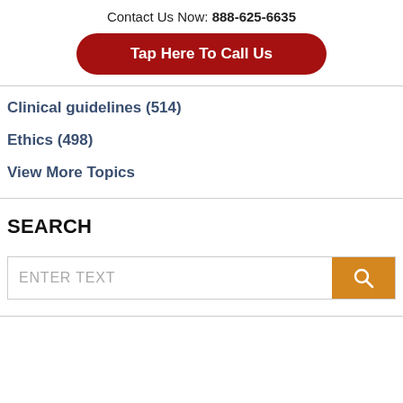Contact Us Now: 888-625-6635
Tap Here To Call Us
Clinical guidelines (514)
Ethics (498)
View More Topics
SEARCH
ENTER TEXT